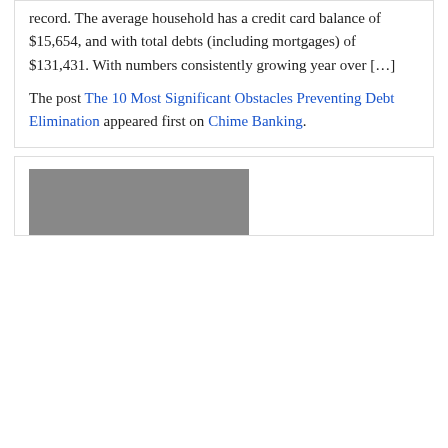record. The average household has a credit card balance of $15,654, and with total debts (including mortgages) of $131,431. With numbers consistently growing year over […]
The post The 10 Most Significant Obstacles Preventing Debt Elimination appeared first on Chime Banking.
[Figure (photo): Partial photo visible at the bottom of the page inside a card, showing what appears to be a person.]